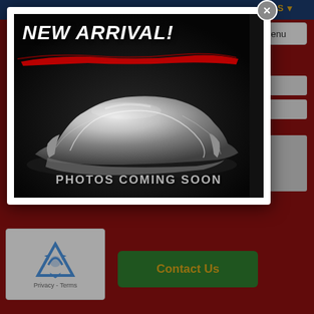[Figure (screenshot): Website screenshot showing a red-background contact form page with a blue navigation bar at top, a 'Menu' button, input fields, a reCAPTCHA widget, and a green 'Contact Us' button. A modal dialog overlays the page showing a car covered with a silver sheet with text 'NEW ARRIVAL!' and 'PHOTOS COMING SOON', with a close (X) button in the top-right corner of the modal.]